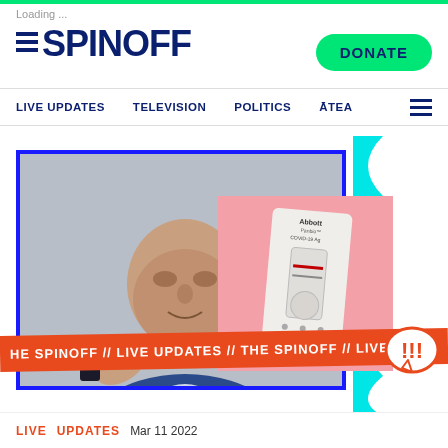Loading ...
THE SPINOFF
DONATE
LIVE UPDATES  TELEVISION  POLITICS  ĀTEA
[Figure (photo): Screenshot of The Spinoff website showing a bald man in a blue suit gesturing with his hand, overlaid with an image of a COVID-19 rapid antigen test on a pink background, a cyan decorative blob shape on the right, and an orange ticker banner reading 'HE SPINOFF // LIVE UPDATES // THE SPINOFF // LIVE', with a red exclamation alert bubble in bottom right]
LIVE UPDATES  Mar 11 2022